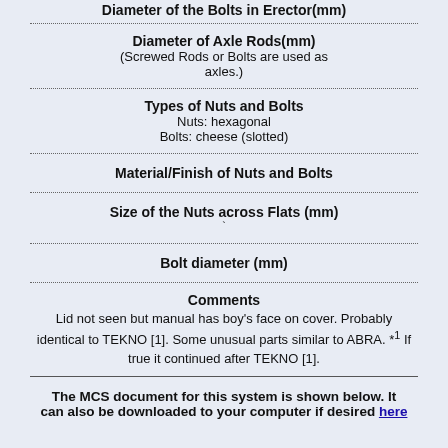Diameter of Axle Rods(mm)
(Screwed Rods or Bolts are used as axles.)
Types of Nuts and Bolts
Nuts: hexagonal
Bolts: cheese (slotted)
Material/Finish of Nuts and Bolts
Size of the Nuts across Flats (mm)
Bolt diameter (mm)
Comments
Lid not seen but manual has boy's face on cover. Probably identical to TEKNO [1]. Some unusual parts similar to ABRA. *1 If true it continued after TEKNO [1].
The MCS document for this system is shown below. It can also be downloaded to your computer if desired here